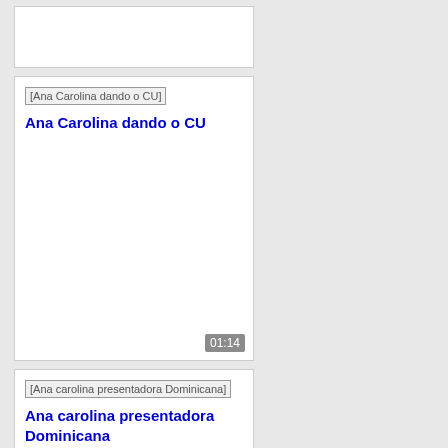[Figure (screenshot): Top card partially visible, white card area cut off at top]
Ana Carolina dando o CU
Ana Carolina dando o CU
01:14
[Figure (screenshot): Broken image placeholder for Ana carolina presentadora Dominicana]
Ana carolina presentadora Dominicana
07:08